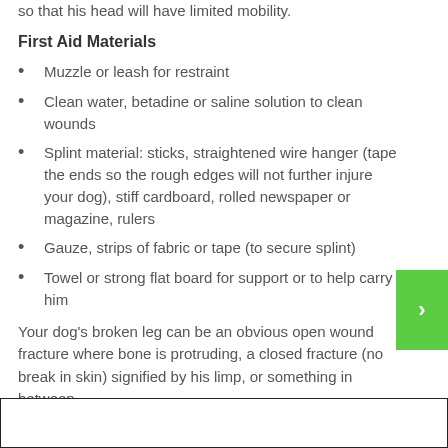so that his head will have limited mobility.
First Aid Materials
Muzzle or leash for restraint
Clean water, betadine or saline solution to clean wounds
Splint material: sticks, straightened wire hanger (tape the ends so the rough edges will not further injure your dog), stiff cardboard, rolled newspaper or magazine, rulers
Gauze, strips of fabric or tape (to secure splint)
Towel or strong flat board for support or to help carry him
Your dog's broken leg can be an obvious open wound fracture where bone is protruding, a closed fracture (no break in skin) signified by his limp, or something in between.
Open Wound Fracture